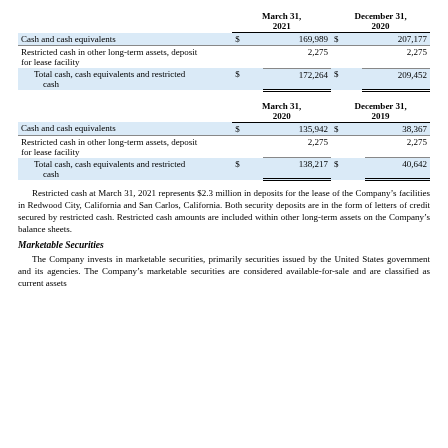|  | March 31, 2021 |  | December 31, 2020 |  |
| --- | --- | --- | --- | --- |
| Cash and cash equivalents | $ | 169,989 | $ | 207,177 |
| Restricted cash in other long-term assets, deposit for lease facility |  | 2,275 |  | 2,275 |
| Total cash, cash equivalents and restricted cash | $ | 172,264 | $ | 209,452 |
|  | March 31, 2020 |  | December 31, 2019 |  |
| --- | --- | --- | --- | --- |
| Cash and cash equivalents | $ | 135,942 | $ | 38,367 |
| Restricted cash in other long-term assets, deposit for lease facility |  | 2,275 |  | 2,275 |
| Total cash, cash equivalents and restricted cash | $ | 138,217 | $ | 40,642 |
Restricted cash at March 31, 2021 represents $2.3 million in deposits for the lease of the Company's facilities in Redwood City, California and San Carlos, California. Both security deposits are in the form of letters of credit secured by restricted cash. Restricted cash amounts are included within other long-term assets on the Company's balance sheets.
Marketable Securities
The Company invests in marketable securities, primarily securities issued by the United States government and its agencies. The Company's marketable securities are considered available-for-sale and are classified as current assets